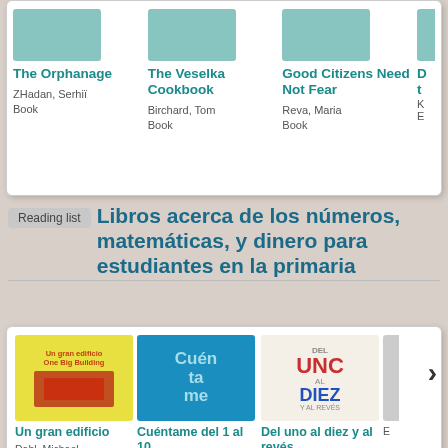[Figure (screenshot): Book listing card showing book covers and metadata for: The Orphanage (ZHadan, Serhii, Book), The Veselka Cookbook (Birchard, Tom, Book), Good Citizens Need Not Fear (Reva, Maria, Book), and a partially visible fourth book]
Reading list  Libros acerca de los números, matemáticas, y dinero para estudiantes en la primaria
[Figure (screenshot): Book listing card showing book covers and metadata for: Un gran edificio (Dahl, Michael), Cuéntame del 1 al 10 (Palmero Cáceres, Ana), Del uno al diez y al revés (Fernández,), and a partially visible fourth book with navigation arrow]